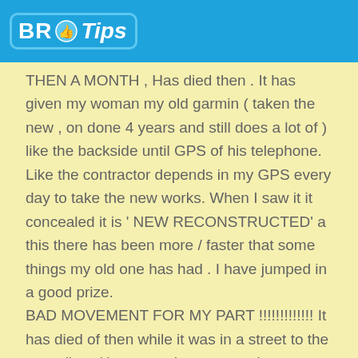[Figure (logo): BR Tips logo with thumbs up icon on blue header background]
THEN A MONTH , Has died then . It has given my woman my old garmin ( taken the new , on done 4 years and still does a lot of ) like the backside until GPS of his telephone. Like the contractor depends in my GPS every day to take the new works. When I saw it it concealed it is ' NEW RECONSTRUCTED' a this there has been more / faster that some things my old one has had . I have jumped in a good prize. BAD MOVEMENT FOR MY PART !!!!!!!!!!!!! It has died of then while it was in a street to the new client ( house under construction , any one can or telephone ) has lost a date ( And taking a work ) . My consulter , NEW COST and take a peace of